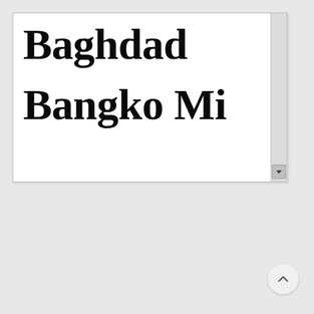[Figure (screenshot): A dropdown list UI element showing two items in bold serif font. The first item visible is 'Baghdad' and below it a partially visible second item starting with letters resembling 'Ba...' or similar. The dropdown has a scrollbar on the right with a down arrow button. Below the dropdown on the page background there is a back-to-top button (chevron up icon) in the bottom right corner.]